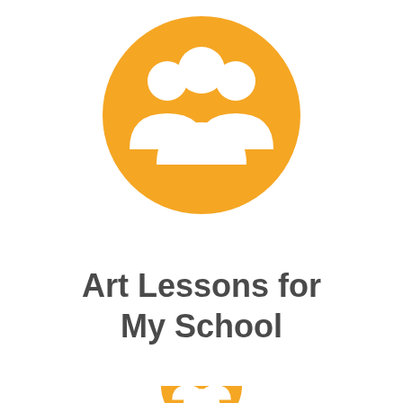[Figure (illustration): Orange circle icon with white silhouette of three people/group representing a community or school group]
Art Lessons for My School
[Figure (illustration): Partial orange circle icon visible at the bottom of the page, same style as the top icon]